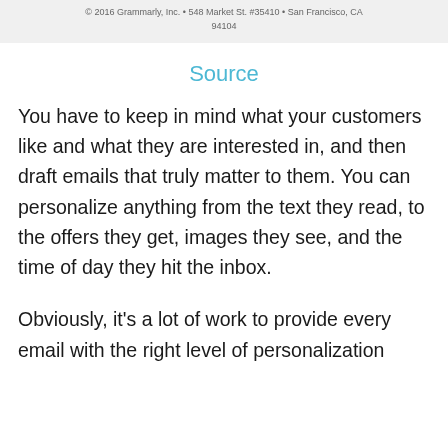© 2016 Grammarly, Inc. • 548 Market St. #35410 • San Francisco, CA 94104
Source
You have to keep in mind what your customers like and what they are interested in, and then draft emails that truly matter to them. You can personalize anything from the text they read, to the offers they get, images they see, and the time of day they hit the inbox.
Obviously, it's a lot of work to provide every email with the right level of personalization